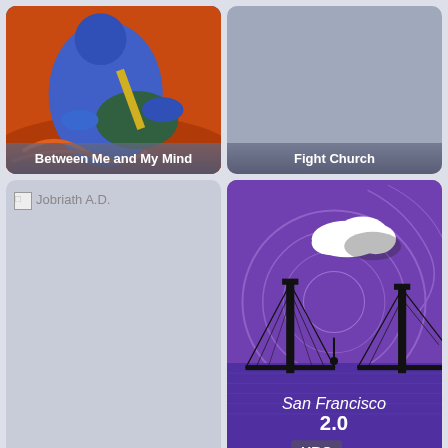[Figure (illustration): Blue stylized figure playing guitar, colorful artwork for 'Between Me and My Mind']
Between Me and My Mind
[Figure (illustration): Fight Church - gray/blue card with no thumbnail image loaded]
Fight Church
[Figure (illustration): Jobriath A.D. - broken image icon with text label]
Jobriath A.D.
[Figure (illustration): San Francisco 2.0 - purple illustration of Golden Gate Bridge with swirling sky and clouds]
San Francisco 2.0
[Figure (illustration): Mole Man - green card with white bold text 'MOLE MAN' and partial illustration below]
Mole Man
[Figure (illustration): Prison Fighters: Five Rounds to Freedom - broken image icon with text]
Prison Fighters: Five Rounds to Freedom